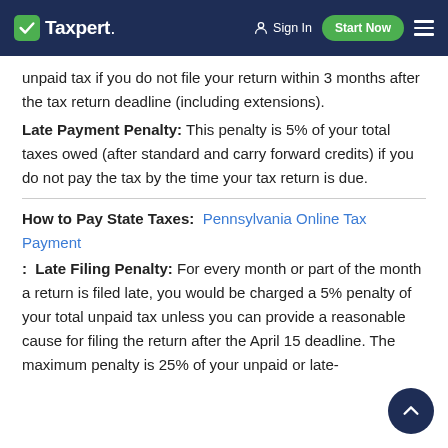Taxpert | Sign In | Start Now
unpaid tax if you do not file your return within 3 months after the tax return deadline (including extensions).
Late Payment Penalty: This penalty is 5% of your total taxes owed (after standard and carry forward credits) if you do not pay the tax by the time your tax return is due.
How to Pay State Taxes: Pennsylvania Online Tax Payment
: Late Filing Penalty: For every month or part of the month a return is filed late, you would be charged a 5% penalty of your total unpaid tax unless you can provide a reasonable cause for filing the return after the April 15 deadline. The maximum penalty is 25% of your unpaid or late-paid taxes. The state may waive the penalty if...